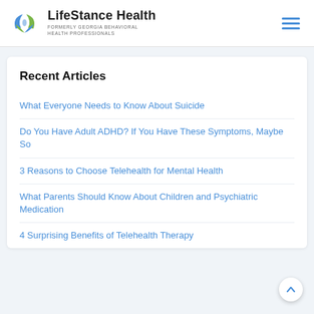LifeStance Health — FORMERLY GEORGIA BEHAVIORAL HEALTH PROFESSIONALS
Recent Articles
What Everyone Needs to Know About Suicide
Do You Have Adult ADHD? If You Have These Symptoms, Maybe So
3 Reasons to Choose Telehealth for Mental Health
What Parents Should Know About Children and Psychiatric Medication
4 Surprising Benefits of Telehealth Therapy